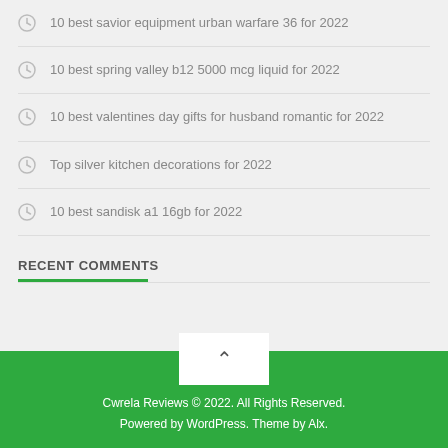10 best savior equipment urban warfare 36 for 2022
10 best spring valley b12 5000 mcg liquid for 2022
10 best valentines day gifts for husband romantic for 2022
Top silver kitchen decorations for 2022
10 best sandisk a1 16gb for 2022
RECENT COMMENTS
Cwrela Reviews © 2022. All Rights Reserved. Powered by WordPress. Theme by Alx.